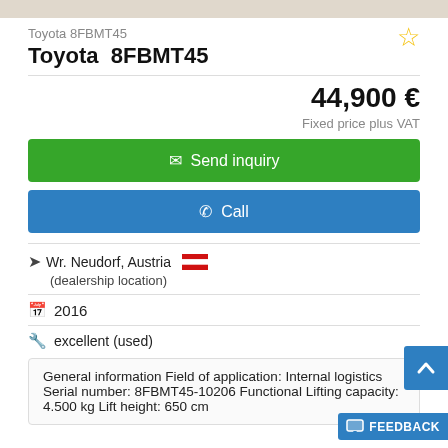[Figure (photo): Top image bar (cropped vehicle image)]
Toyota 8FBMT45
Toyota 8FBMT45
44,900 €
Fixed price plus VAT
✉ Send inquiry
✆ Call
Wr. Neudorf, Austria
(dealership location)
2016
excellent (used)
General information Field of application: Internal logistics Serial number: 8FBMT45-10206 Functional Lifting capacity: 4.500 kg Lift height: 650 cm